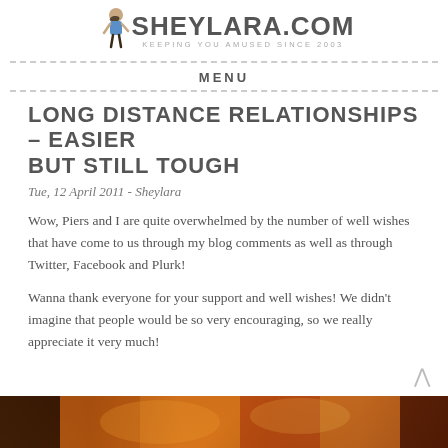SHEYLARA.COM — keeping you amused since 2003
MENU
LONG DISTANCE RELATIONSHIPS – EASIER BUT STILL TOUGH
Tue, 12 April 2011 - Sheylara
Wow, Piers and I are quite overwhelmed by the number of well wishes that have come to us through my blog comments as well as through Twitter, Facebook and Plurk!
Wanna thank everyone for your support and well wishes! We didn't imagine that people would be so very encouraging, so we really appreciate it very much!
[Figure (photo): Bottom partial photo showing warm orange-red toned image, partially visible at bottom of page]